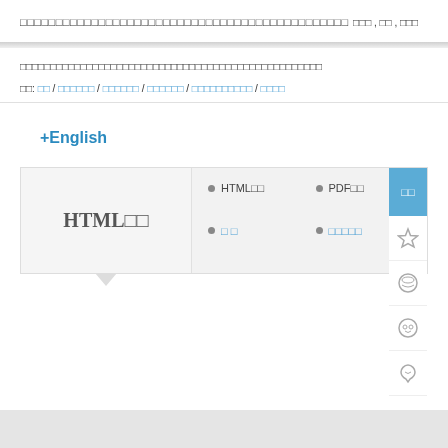□□□□□□□□□□□□□□□□□□□□□□□□□□□□□□□□□□□□
□□□ , □□ , □□□
□□□□□□□□□□□□□□□□□□□□□□□□□□□□□□□□□□□□□□□□
□□: □□ / □□□□□□ / □□□□□□ / □□□□□□ / □□□□□□□□□□ / □□□□
+English
HTML□□
HTML□□  □□  PDF□□  □□□□□